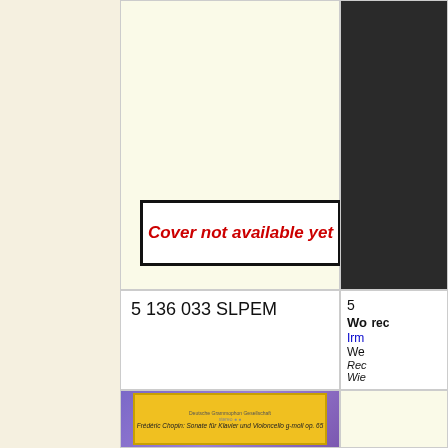[Figure (other): Empty cream-colored box where album cover would appear, with 'Cover not available yet' placeholder text in red italic bold inside a black-bordered white rectangle]
[Figure (photo): Dark/black image on right side, partially visible]
Cover not available yet
5 136 033 SLPEM
5
Wo
rec
Irm
We
Rec
Wie
[Figure (photo): Deutsche Grammophon album cover for Frederic Chopin Sonate fur Klavier und Violoncello g-moll op.65, yellow label on purple background]